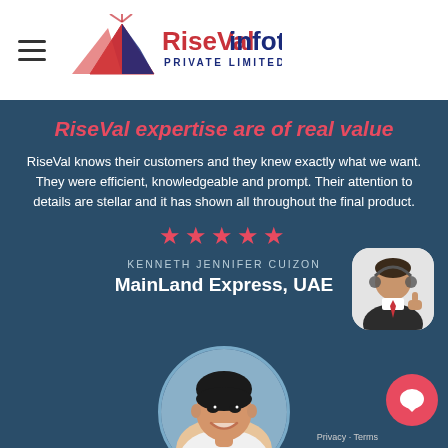[Figure (logo): RiseVal Infotech Private Limited logo with hamburger menu icon]
RiseVal expertise are of real value
RiseVal knows their customers and they knew exactly what we want. They were efficient, knowledgeable and prompt. Their attention to details are stellar and it has shown all throughout the final product.
★★★★★
KENNETH JENNIFER CUIZON
MainLand Express, UAE
[Figure (photo): Photo of a man in suit with headset giving thumbs up]
[Figure (photo): Circular profile photo of an Asian young man smiling]
Privacy · Terms